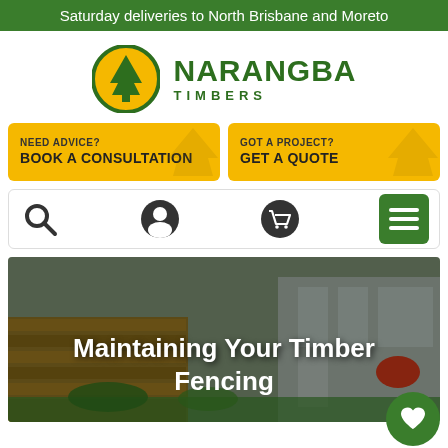Saturday deliveries to North Brisbane and Moreto
[Figure (logo): Narangba Timbers logo: green circle with white pine tree icon, beside bold green text NARANGBA TIMBERS]
[Figure (infographic): Two yellow CTA buttons: 'NEED ADVICE? BOOK A CONSULTATION' and 'GOT A PROJECT? GET A QUOTE']
[Figure (infographic): Navigation icon row with search, user, cart icons and green hamburger menu button]
[Figure (photo): Hero image of a modern house exterior with timber fence. Text overlay reads 'Maintaining Your Timber Fencing'. Green heart floating button at bottom right.]
If you are installing timber fencing in the Brisbane area,